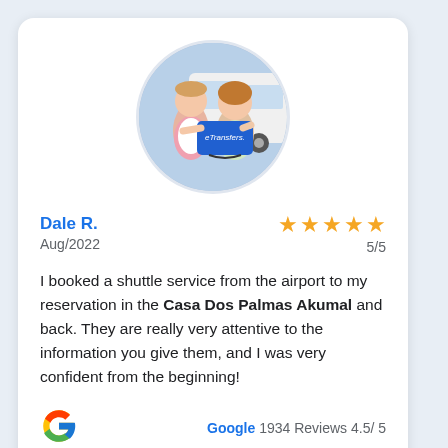[Figure (photo): Circular profile photo showing two people holding a blue eTransfers sign in front of a white van]
Dale R.
Aug/2022
[Figure (other): Five gold star rating icons]
5/5
I booked a shuttle service from the airport to my reservation in the Casa Dos Palmas Akumal and back. They are really very attentive to the information you give them, and I was very confident from the beginning!
[Figure (logo): Google G logo]
Google 1934 Reviews 4.5/ 5